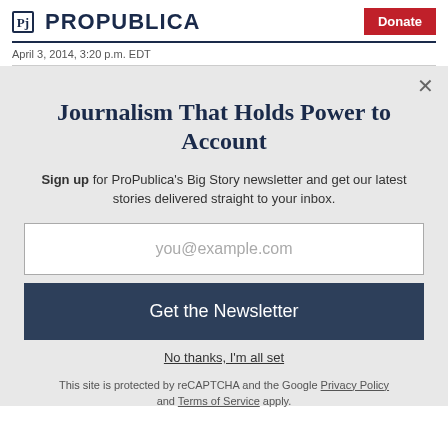ProPublica | Donate
April 3, 2014, 3:20 p.m. EDT
Journalism That Holds Power to Account
Sign up for ProPublica's Big Story newsletter and get our latest stories delivered straight to your inbox.
you@example.com
Get the Newsletter
No thanks, I'm all set
This site is protected by reCAPTCHA and the Google Privacy Policy and Terms of Service apply.